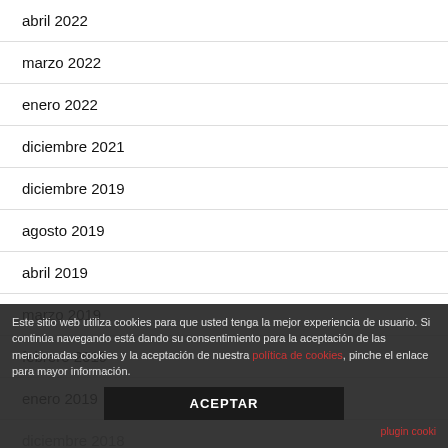abril 2022
marzo 2022
enero 2022
diciembre 2021
diciembre 2019
agosto 2019
abril 2019
marzo 2019
febrero 2019
enero 2019
diciembre 2018
Este sitio web utiliza cookies para que usted tenga la mejor experiencia de usuario. Si continúa navegando está dando su consentimiento para la aceptación de las mencionadas cookies y la aceptación de nuestra política de cookies, pinche el enlace para mayor información.
ACEPTAR
plugin cooki